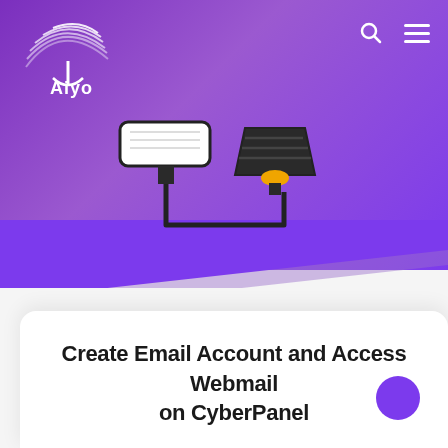[Figure (illustration): Purple gradient website header with logo (Aiyo), search icon, hamburger menu, and an illustration of two camera/light fixtures connected by a cable on the purple background. Below the header is a diagonal wave transition to white background.]
Create Email Account and Access Webmail on CyberPanel